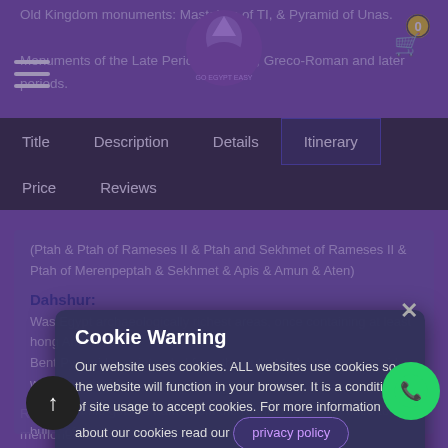Old Kingdom monuments: Mastabas of  TI, & Pyramid of Unas.
Monuments of the Late Period, Ptolemy, Greco-Roman and later periods.
[Figure (logo): Purple cartoon Egyptian deity logo with text 'GO EGYPT EASY']
[Figure (infographic): Shopping cart icon with red badge showing '0']
[Figure (infographic): Hamburger menu icon (three horizontal lines)]
Title | Description | Details | Itinerary | Price | Reviews
(Ptah & Ptah of Rameses II & Ptah and Sekhmet of Rameses II & Ptah of Merenpeptah & Sekhmet & Apis & Amun & Aten)
Dahshur:
Was Egypt archaeologically richest areas, once containing at least hong Ame... ns! Bent Pyramid was intended from the outset to be a true pyramid with smooth sides.
Red Pyramid gets its name from the reddish limestone used to buil... of it.
[Figure (screenshot): Cookie warning modal dialog overlay with title 'Cookie Warning', body text about cookie usage, privacy policy link, and Accept/Deny buttons]
Return to your hotel at the end of day trip with many amazingly memories of